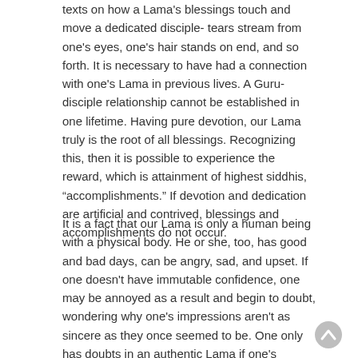texts on how a Lama's blessings touch and move a dedicated disciple- tears stream from one's eyes, one's hair stands on end, and so forth. It is necessary to have had a connection with one's Lama in previous lives. A Guru-disciple relationship cannot be established in one lifetime. Having pure devotion, our Lama truly is the root of all blessings. Recognizing this, then it is possible to experience the reward, which is attainment of highest siddhis, “accomplishments.” If devotion and dedication are artificial and contrived, blessings and accomplishments do not occur.
It is a fact that our Lama is only a human being with a physical body. He or she, too, has good and bad days, can be angry, sad, and upset. If one doesn't have immutable confidence, one may be annoyed as a result and begin to doubt, wondering why one's impressions aren't as sincere as they once seemed to be. One only has doubts in an authentic Lama if one's devotion isn't genuine. Therefore it is necessary to cultivate pure faith.